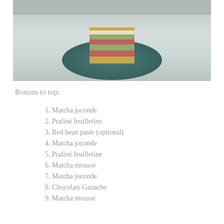[Figure (photo): A slice of layered matcha and red bean cake with multiple alternating green, red/pink, and cream layers on a dark teal plate, placed on a light wooden surface.]
Bottom to top:
1. Matcha joconde
2. Praliné feuilletine
3. Red bean paste (optional)
4. Matcha joconde
5. Praliné feuilletine
6. Matcha mousse
7. Matcha joconde
8. Chocolate Ganache
9. Matcha mousse